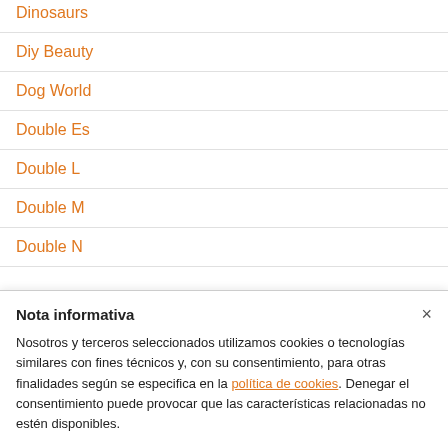Dinosaurs
Diy Beauty
Dog World
Double Es
Double L
Double M
Double N
Nota informativa
Nosotros y terceros seleccionados utilizamos cookies o tecnologías similares con fines técnicos y, con su consentimiento, para otras finalidades según se especifica en la política de cookies. Denegar el consentimiento puede provocar que las características relacionadas no estén disponibles.